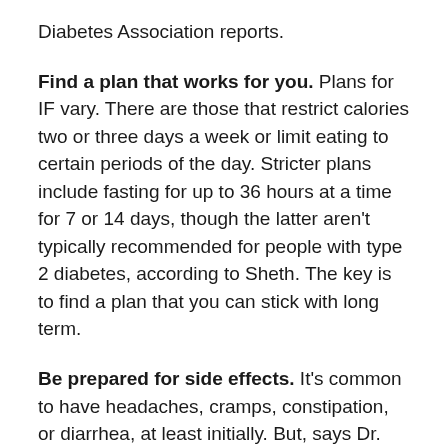Diabetes Association reports.
Find a plan that works for you. Plans for IF vary. There are those that restrict calories two or three days a week or limit eating to certain periods of the day. Stricter plans include fasting for up to 36 hours at a time for 7 or 14 days, though the latter aren't typically recommended for people with type 2 diabetes, according to Sheth. The key is to find a plan that you can stick with long term.
Be prepared for side effects. It's common to have headaches, cramps, constipation, or diarrhea, at least initially. But, says Dr. Fung, “If you’re feeling very unwell, stop. You might be hungry, but you shouldn’t be lethargic or throwing up.”